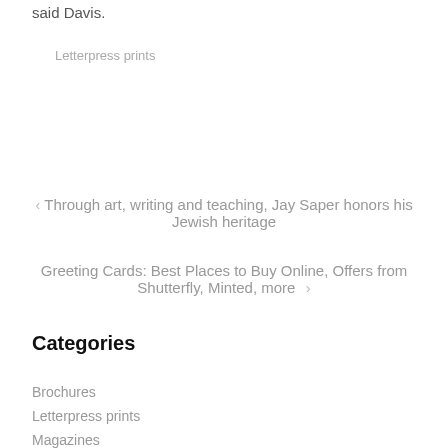said Davis.
Letterpress prints
< Through art, writing and teaching, Jay Saper honors his Jewish heritage
Greeting Cards: Best Places to Buy Online, Offers from Shutterfly, Minted, more >
Categories
Brochures
Letterpress prints
Magazines